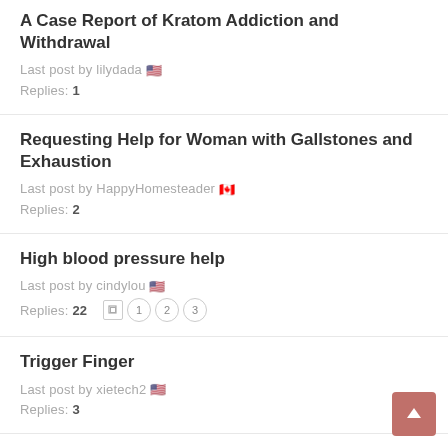A Case Report of Kratom Addiction and Withdrawal
Last post by lilydada 🇺🇸
Replies: 1
Requesting Help for Woman with Gallstones and Exhaustion
Last post by HappyHomesteader 🇨🇦
Replies: 2
High blood pressure help
Last post by cindylou 🇺🇸
Replies: 22  [pages 1 2 3]
Trigger Finger
Last post by xietech2 🇺🇸
Replies: 3
Most Effective Product for Injured Ligaments/Tendons